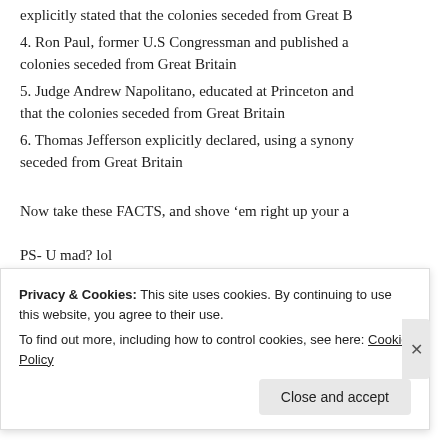explicitly stated that the colonies seceded from Great B...
4. Ron Paul, former U.S Congressman and published a... colonies seceded from Great Britain
5. Judge Andrew Napolitano, educated at Princeton and... that the colonies seceded from Great Britain
6. Thomas Jefferson explicitly declared, using a synony... seceded from Great Britain
Now take these FACTS, and shove ‘em right up your a...
PS- U mad? lol
★ Like
Reply
Privacy & Cookies: This site uses cookies. By continuing to use this website, you agree to their use.
To find out more, including how to control cookies, see here: Cookie Policy
Close and accept